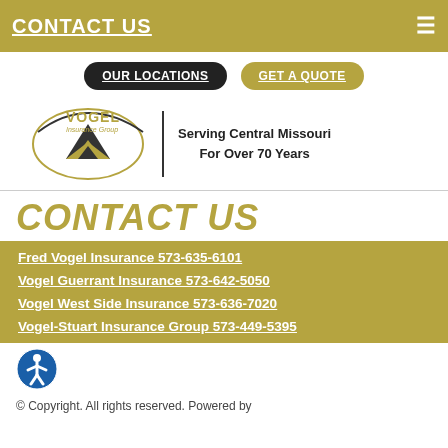CONTACT US
OUR LOCATIONS
GET A QUOTE
[Figure (logo): Vogel Insurance Group logo with eagle/triangle mark and text 'Serving Central Missouri For Over 70 Years']
CONTACT US
Fred Vogel Insurance 573-635-6101
Vogel Guerrant Insurance 573-642-5050
Vogel West Side Insurance 573-636-7020
Vogel-Stuart Insurance Group 573-449-5395
[Figure (illustration): Accessibility icon — blue circle with white person silhouette]
© Copyright. All rights reserved. Powered by